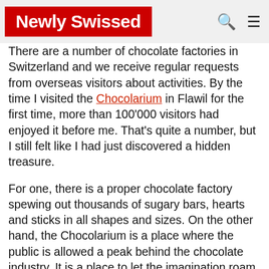Newly Swissed
There are a number of chocolate factories in Switzerland and we receive regular requests from overseas visitors about activities. By the time I visited the Chocolarium in Flawil for the first time, more than 100'000 visitors had enjoyed it before me. That's quite a number, but I still felt like I had just discovered a hidden treasure.
For one, there is a proper chocolate factory spewing out thousands of sugary bars, hearts and sticks in all shapes and sizes. On the other hand, the Chocolarium is a place where the public is allowed a peak behind the chocolate industry. It is a place to let the imagination roam and to discover why the Swiss are masters at chocolate making.
Behind these doors, an imaginaaaaable delight